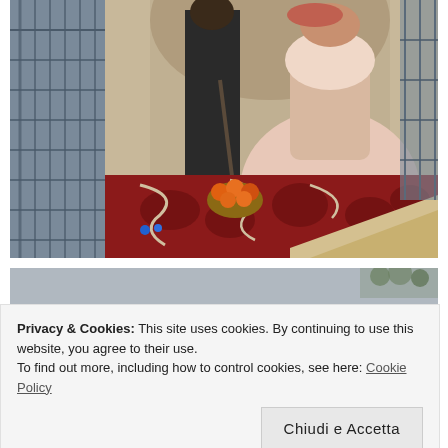[Figure (photo): Photograph of a large outdoor mural painted on a building facade, showing Victorian-era figures including a woman in a pink/white dress and a man in dark clothing, with a basket of oranges on an ornate red carpet. Construction scaffolding visible on the left side.]
[Figure (photo): Partial view of a second photograph, showing a grey/blue sky or background with some dark elements at the top right.]
Privacy & Cookies: This site uses cookies. By continuing to use this website, you agree to their use.
To find out more, including how to control cookies, see here: Cookie Policy
Chiudi e Accetta
[Figure (photo): Partial view of a third photograph showing warm orange/brown tones, possibly a butterfly or flower.]